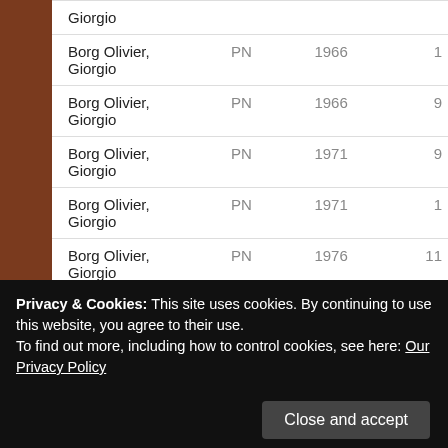| Name | Party | Year | No. |
| --- | --- | --- | --- |
| Borg Olivier, Giorgio | PN |  |  |
| Borg Olivier, Giorgio | PN | 1966 | 1 |
| Borg Olivier, Giorgio | PN | 1966 | 9 |
| Borg Olivier, Giorgio | PN | 1971 | 9 |
| Borg Olivier, Giorgio | PN | 1971 | 1 |
| Borg Olivier, Giorgio | PN | 1976 | 11 |
| Borg Olivier, Giorgio | PN | 1976 | 1 |
| Borg Olivier, Giorgio | PN | 1962 | 8 |
Privacy & Cookies: This site uses cookies. By continuing to use this website, you agree to their use. To find out more, including how to control cookies, see here: Our Privacy Policy